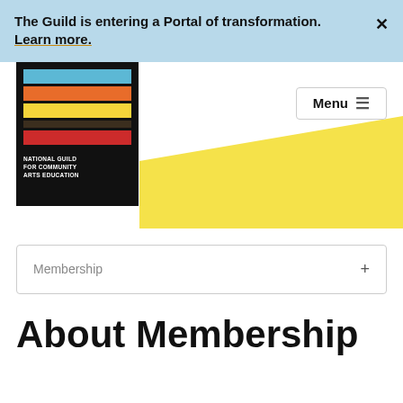The Guild is entering a Portal of transformation. Learn more.
[Figure (logo): National Guild for Community Arts Education logo with colored horizontal stripes (blue, orange, yellow, dark brown, red) on black background]
Menu
Membership +
About Membership